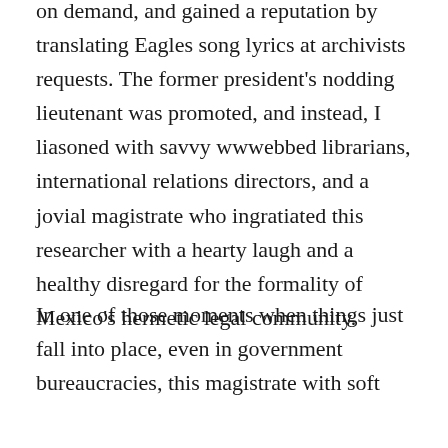on demand, and gained a reputation by translating Eagles song lyrics at archivists requests. The former president's nodding lieutenant was promoted, and instead, I liasoned with savvy wwwebbed librarians, international relations directors, and a jovial magistrate who ingratiated this researcher with a hearty laugh and a healthy disregard for the formality of Mexico's hermetic legal community.
In one of those moments when things just fall into place, even in government bureaucracies, this magistrate with soft